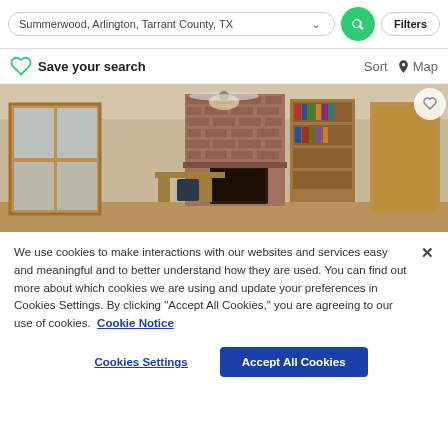Summerwood, Arlington, Tarrant County, TX
Filters
Save your search
Sort   Map
[Figure (photo): Interior room photo showing a brick fireplace, built-in bookshelves, wooden French doors, ceiling fan, and desk area with hardwood floors.]
We use cookies to make interactions with our websites and services easy and meaningful and to better understand how they are used. You can find out more about which cookies we are using and update your preferences in Cookies Settings. By clicking "Accept All Cookies," you are agreeing to our use of cookies.  Cookie Notice
Cookies Settings
Accept All Cookies